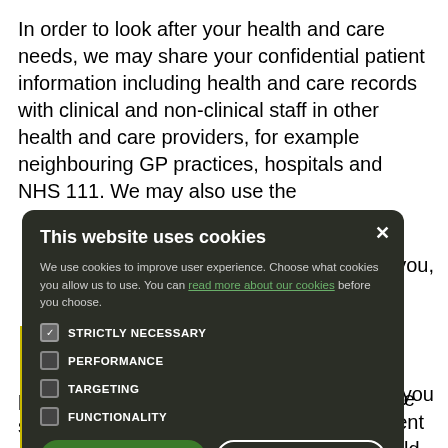In order to look after your health and care needs, we may share your confidential patient information including health and care records with clinical and non-clinical staff in other health and care providers, for example neighbouring GP practices, hospitals and NHS 111. We may also use the [partially obscured] ges to you,
[Figure (screenshot): Cookie consent modal dialog with dark background. Title: 'This website uses cookies'. Body text explains cookie usage with a link 'read more about our cookies'. Four checkboxes: STRICTLY NECESSARY (checked), PERFORMANCE (unchecked), TARGETING (unchecked), FUNCTIONALITY (unchecked). Two buttons: ACCEPT ALL (green filled) and DECLINE ALL (outlined). Close X button in top right.]
protecting public health, providing healthcare services to